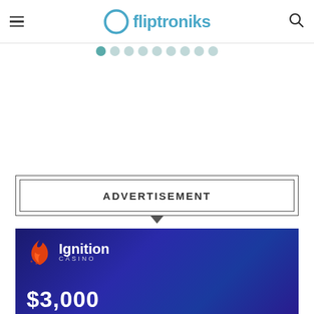fliptroniks
[Figure (other): Pagination dots row with teal/grey circles]
[Figure (other): Advertisement placeholder box with label ADVERTISEMENT and downward arrow, followed by Ignition Casino ad banner showing $3,000]